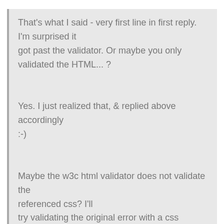That's what I said - very first line in first reply. I'm surprised it got past the validator. Or maybe you only validated the HTML... ?
Yes. I just realized that, & replied above accordingly :-)
Maybe the w3c html validator does not validate the referenced css? I'll try validating the original error with a css validator & post back here.
Geez I'm being enormously slow on the uptake here! :-((
You said, maybe I only validated the HTML !!